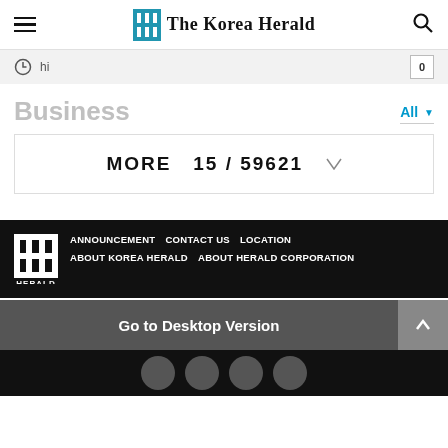The Korea Herald
hi
Business
All
MORE  15 / 59621
ANNOUNCEMENT  CONTACT US  LOCATION  ABOUT KOREA HERALD  ABOUT HERALD CORPORATION
Go to Desktop Version